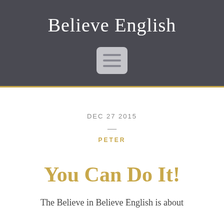Believe English
[Figure (other): Menu/hamburger icon with three horizontal lines inside a rounded rectangle]
DEC 27 2015
—
PETER
You Can Do It!
The Believe in Believe English is about